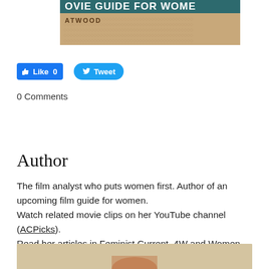[Figure (photo): Partial book cover showing text 'OVIE GUIDE FOR WOME' and 'ATWOOD' on a textured tan/beige background with teal/dark top edge]
[Figure (screenshot): Facebook Like button showing 'Like 0' in blue, and Twitter Tweet button in blue oval]
0 Comments
Author
The film analyst who puts women first. Author of an upcoming film guide for women.
Watch related movie clips on her YouTube channel (ACPicks).
Read her articles in Feminist Current, 4W and Women Making Films India.
[Figure (photo): Bottom portion of a person with reddish hair, partial photo cut off at page bottom]